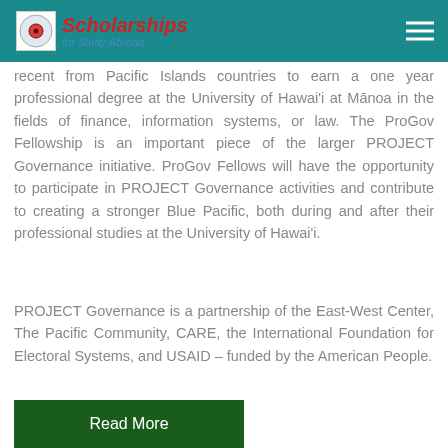Scholarships for Study Abroad
recent from Pacific Islands countries to earn a one year professional degree at the University of Hawai'i at Mānoa in the fields of finance, information systems, or law. The ProGov Fellowship is an important piece of the larger PROJECT Governance initiative. ProGov Fellows will have the opportunity to participate in PROJECT Governance activities and contribute to creating a stronger Blue Pacific, both during and after their professional studies at the University of Hawai'i.
PROJECT Governance is a partnership of the East-West Center, The Pacific Community, CARE, the International Foundation for Electoral Systems, and USAID – funded by the American People.